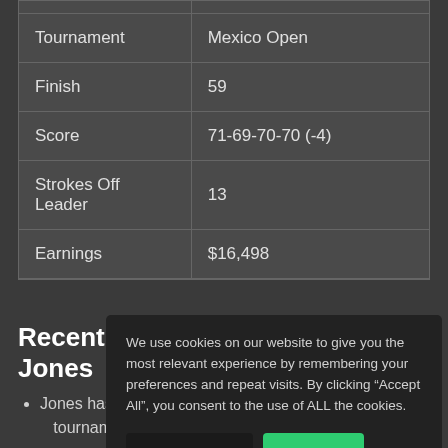|  |  |
| --- | --- |
| Tournament | Mexico Open |
| Finish | 59 |
| Score | 71-69-70-70 (-4) |
| Strokes Off Leader | 13 |
| Earnings | $16,498 |
Recent F
Jones
Jones has fin tournaments
The past four the cut twice
We use cookies on our website to give you the most relevant experience by remembering your preferences and repeat visits. By clicking “Accept All”, you consent to the use of ALL the cookies.